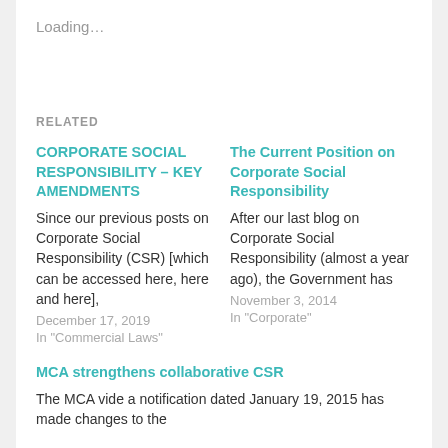Loading…
RELATED
CORPORATE SOCIAL RESPONSIBILITY – KEY AMENDMENTS
Since our previous posts on Corporate Social Responsibility (CSR) [which can be accessed here, here and here],
December 17, 2019
In "Commercial Laws"
The Current Position on Corporate Social Responsibility
After our last blog on Corporate Social Responsibility (almost a year ago), the Government has
November 3, 2014
In "Corporate"
MCA strengthens collaborative CSR
The MCA vide a notification dated January 19, 2015 has made changes to the